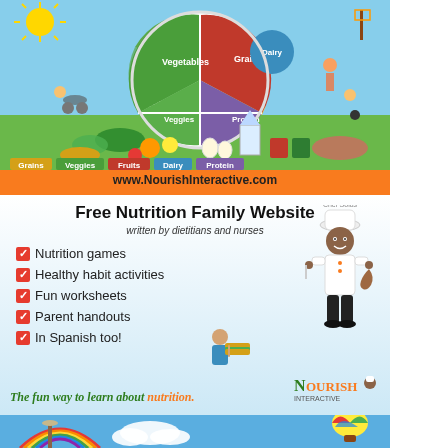[Figure (illustration): MyPlate food guide illustration with children playing, food groups (Fruits, Grains, Dairy, Vegetables, Protein) shown on a divided plate, various foods displayed below, food group label buttons (Grains, Veggies, Fruits, Dairy, Protein), website URL www.NourishInteractive.com on orange bar]
Free Nutrition Family Website
written by dietitians and nurses
Nutrition games
Healthy habit activities
Fun worksheets
Parent handouts
In Spanish too!
The fun way to learn about nutrition.
[Figure (illustration): Nourish Interactive logo with chef character (Chef Solus), and a child character with sandwich]
[Figure (illustration): Bottom scene with rainbow, windmill, clouds, hot air balloon on blue sky background]